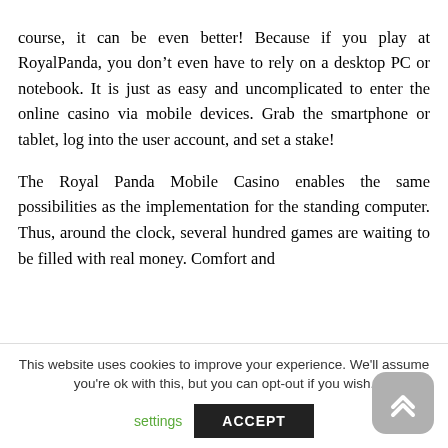course, it can be even better! Because if you play at RoyalPanda, you don't even have to rely on a desktop PC or notebook. It is just as easy and uncomplicated to enter the online casino via mobile devices. Grab the smartphone or tablet, log into the user account, and set a stake!

The Royal Panda Mobile Casino enables the same possibilities as the implementation for the standing computer. Thus, around the clock, several hundred games are waiting to be filled with real money. Comfort and
This website uses cookies to improve your experience. We'll assume you're ok with this, but you can opt-out if you wish.